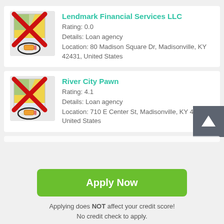[Figure (illustration): Map icon with red X cross overlay and pencil/location marker at bottom, on grey background]
Lendmark Financial Services LLC
Rating: 0.0
Details: Loan agency
Location: 80 Madison Square Dr, Madisonville, KY 42431, United States
[Figure (illustration): Map icon with red X cross overlay and pencil/location marker at bottom, on grey background]
River City Pawn
Rating: 4.1
Details: Loan agency
Location: 710 E Center St, Madisonville, KY 42431, United States
[Figure (illustration): Dark grey square button with white upward arrow icon]
Apply Now
Applying does NOT affect your credit score! No credit check to apply.